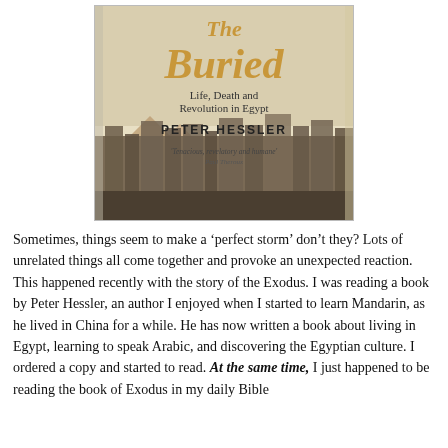[Figure (photo): Photo of the book 'The Buried: Life, Death and Revolution in Egypt' by Peter Hessler. The book cover shows golden stylized text for the title, with pyramids and an Egyptian cityscape at the bottom. A quote reads 'Tenacious, revelatory and humane' – Paul Theroux.]
Sometimes, things seem to make a 'perfect storm' don't they? Lots of unrelated things all come together and provoke an unexpected reaction. This happened recently with the story of the Exodus. I was reading a book by Peter Hessler, an author I enjoyed when I started to learn Mandarin, as he lived in China for a while. He has now written a book about living in Egypt, learning to speak Arabic, and discovering the Egyptian culture. I ordered a copy and started to read. At the same time, I just happened to be reading the book of Exodus in my daily Bible